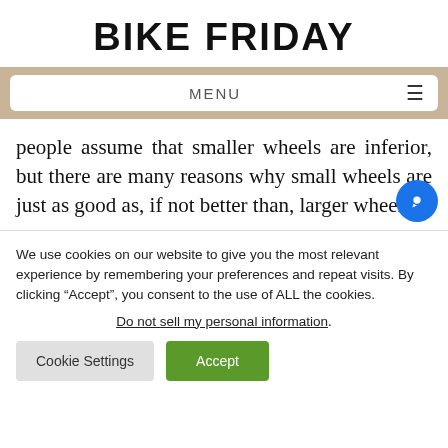BIKE FRIDAY
[Figure (screenshot): Navigation menu bar with MENU label and hamburger icon on tan/beige background]
people assume that smaller wheels are inferior, but there are many reasons why small wheels are just as good as, if not better than, larger wheels.
We use cookies on our website to give you the most relevant experience by remembering your preferences and repeat visits. By clicking “Accept”, you consent to the use of ALL the cookies.
Do not sell my personal information.
Cookie Settings   Accept